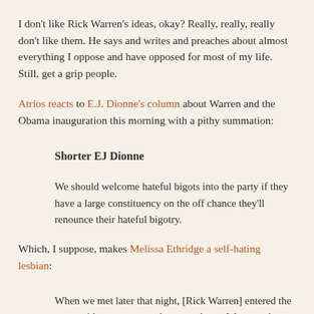I don't like Rick Warren's ideas, okay? Really, really, really don't like them. He says and writes and preaches about almost everything I oppose and have opposed for most of my life. Still, get a grip people.
Atrios reacts to E.J. Dionne's column about Warren and the Obama inauguration this morning with a pithy summation:
Shorter EJ Dionne
We should welcome hateful bigots into the party if they have a large constituency on the off chance they'll renounce their hateful bigotry.
Which, I suppose, makes Melissa Ethridge a self-hating lesbian:
When we met later that night, [Rick Warren] entered the room with open arms and an open heart. We agreed to build bridges to the future.